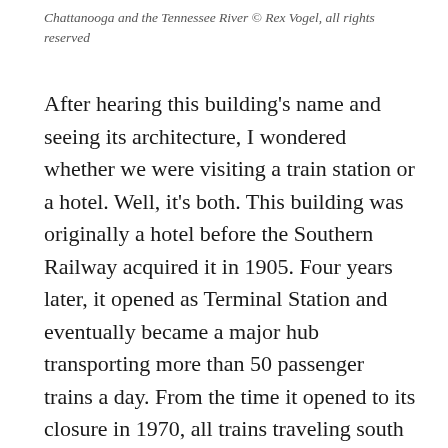Chattanooga and the Tennessee River © Rex Vogel, all rights reserved
After hearing this building's name and seeing its architecture, I wondered whether we were visiting a train station or a hotel. Well, it's both. This building was originally a hotel before the Southern Railway acquired it in 1905. Four years later, it opened as Terminal Station and eventually became a major hub transporting more than 50 passenger trains a day. From the time it opened to its closure in 1970, all trains traveling south passed through Chattanooga. Although well-known in the railroad industry, the Chattanooga Choo-Choo didn't become a household name until the Glenn Miller Orche...